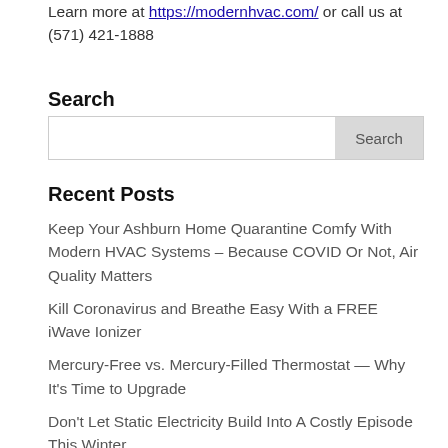Learn more at https://modernhvac.com/ or call us at (571) 421-1888
Search
Search box with Search button
Recent Posts
Keep Your Ashburn Home Quarantine Comfy With Modern HVAC Systems – Because COVID Or Not, Air Quality Matters
Kill Coronavirus and Breathe Easy With a FREE iWave Ionizer
Mercury-Free vs. Mercury-Filled Thermostat — Why It's Time to Upgrade
Don't Let Static Electricity Build Into A Costly Episode This Winter